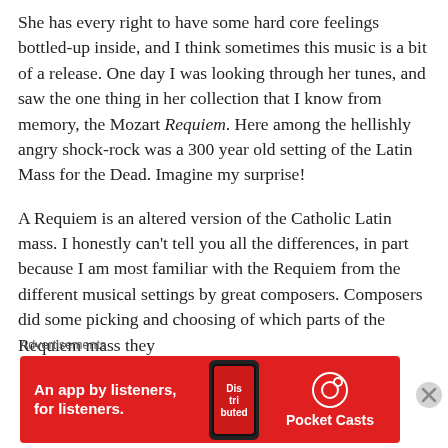She has every right to have some hard core feelings bottled-up inside, and I think sometimes this music is a bit of a release.  One day I was looking through her tunes, and saw the one thing in her collection that I know from memory, the Mozart Requiem.  Here among the hellishly angry shock-rock was a 300 year old setting of the Latin Mass for the Dead.  Imagine my surprise!
A Requiem is an altered version of the Catholic Latin mass.  I honestly can't tell you all the differences, in part because I am most familiar with the Requiem from the different musical settings by great composers.  Composers did some picking and choosing of which parts of the Requiem mass they
Advertisements
[Figure (infographic): Red advertisement banner for Pocket Casts app: 'An app by listeners, for listeners.' with a phone image showing the Distributed podcast logo and the Pocket Casts circular logo.]